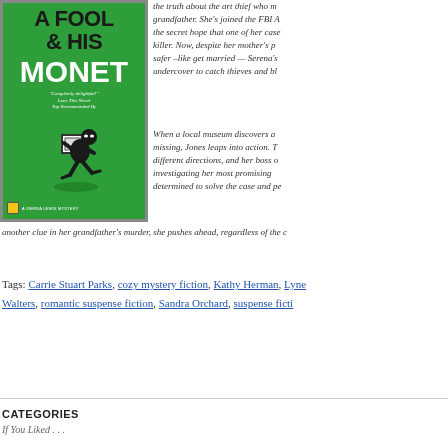[Figure (illustration): Book cover for 'A Fool & His Monet' - green background with large dark text title, white MONET text, and illustration of a running art thief in black carrying a framed painting. National Geographic logo at bottom left. Series label 'A Sierra Lewis Mystery'.]
the truth about the art thief who murdered her grandfather. She's joined the FBI Art Crime Team in the secret hope that one of her cases will lead to the killer. Now, despite her mother's pleas to do something safer –like get married — Serena's undercover to catch thieves and bl...
When a local museum discovers a Monet missing, Jones leaps into action. The clues point in different directions, and her boss orders her to stop investigating her most promising lead. But determined to solve the case and pe...
another clue in her grandfather's murder, she pushes ahead, regardless of the c...
Tags: Carrie Stuart Parks, cozy mystery fiction, Kathy Herman, Lyne Walters, romantic suspense fiction, Sandra Orchard, suspense ficti...
CATEGORIES
If You Liked . . .